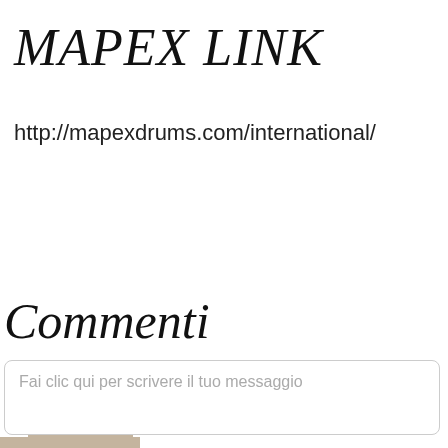MAPEX LINK
http://mapexdrums.com/international/
[Figure (other): Facebook-style 'Mi piace questa pagina' (Like this page) button with thumbs-up icon, tan/beige rounded button]
Commenti
Fai clic qui per scrivere il tuo messaggio
Scrivi qui il tuo nome.